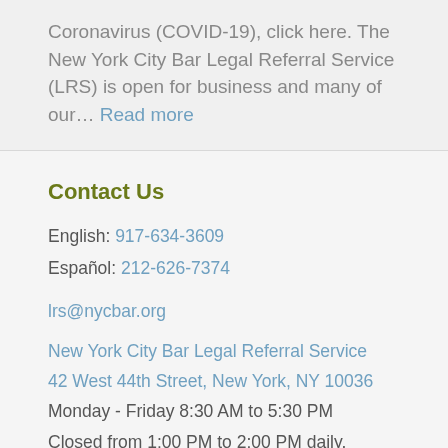Coronavirus (COVID-19), click here. The New York City Bar Legal Referral Service (LRS) is open for business and many of our… Read more
Contact Us
English: 917-634-3609
Español: 212-626-7374
lrs@nycbar.org
New York City Bar Legal Referral Service
42 West 44th Street, New York, NY 10036
Monday - Friday 8:30 AM to 5:30 PM
Closed from 1:00 PM to 2:00 PM daily.